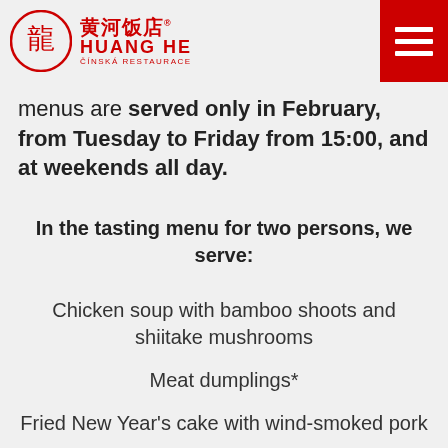HUANG HE — ČÍNSKÁ RESTAURACE
menus are served only in February, from Tuesday to Friday from 15:00, and at weekends all day.
In the tasting menu for two persons, we serve:
Chicken soup with bamboo shoots and shiitake mushrooms
Meat dumplings*
Fried New Year's cake with wind-smoked pork